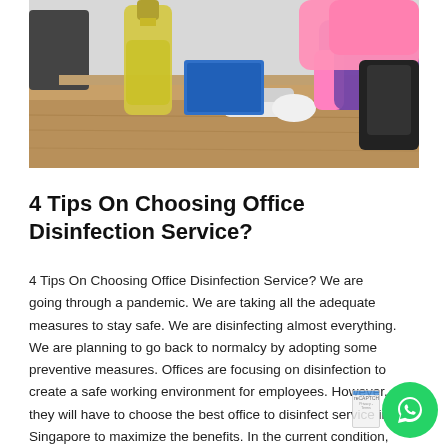[Figure (photo): Person wearing pink rubber gloves cleaning an office desk with a purple cloth, with a bottle of cleaning solution visible. Items like a mouse and stapler are on the wooden desk.]
4 Tips On Choosing Office Disinfection Service?
4 Tips On Choosing Office Disinfection Service? We are going through a pandemic. We are taking all the adequate measures to stay safe. We are disinfecting almost everything. We are planning to go back to normalcy by adopting some preventive measures. Offices are focusing on disinfection to create a safe working environment for employees. However, they will have to choose the best office to disinfect service in Singapore to maximize the benefits. In the current condition, you will find many disinfection services